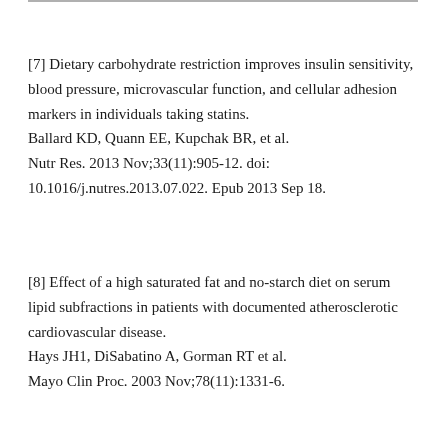[7] Dietary carbohydrate restriction improves insulin sensitivity, blood pressure, microvascular function, and cellular adhesion markers in individuals taking statins. Ballard KD, Quann EE, Kupchak BR, et al. Nutr Res. 2013 Nov;33(11):905-12. doi: 10.1016/j.nutres.2013.07.022. Epub 2013 Sep 18.
[8] Effect of a high saturated fat and no-starch diet on serum lipid subfractions in patients with documented atherosclerotic cardiovascular disease. Hays JH1, DiSabatino A, Gorman RT et al. Mayo Clin Proc. 2003 Nov;78(11):1331-6.